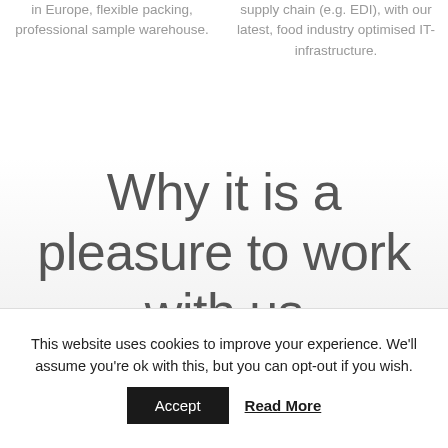in Europe, flexible packing, professional sample warehouse.
supply chain (e.g. EDI), with our latest, food industry optimised IT-infrastructure.
Why it is a pleasure to work with us
This website uses cookies to improve your experience. We'll assume you're ok with this, but you can opt-out if you wish.
Accept  Read More